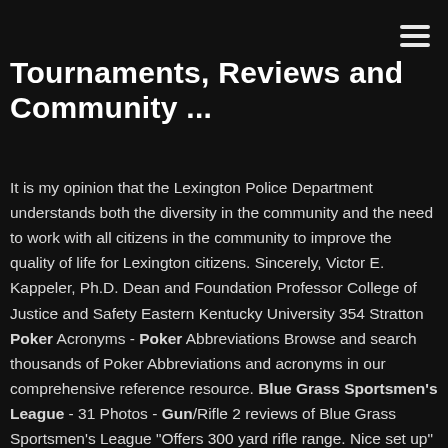≡
Tournaments, Reviews and Community ...
It is my opinion that the Lexington Police Department understands both the diversity in the community and the need to work with all citizens in the community to improve the quality of life for Lexington citizens. Sincerely, Victor E. Kappeler, Ph.D. Dean and Foundation Professor College of Justice and Safety Eastern Kentucky University 354 Stratton Poker Acronyms - Poker Abbreviations Browse and search thousands of Poker Abbreviations and acronyms in our comprehensive reference resource. Blue Grass Sportsmen's League - 31 Photos - Gun/Rifle 2 reviews of Blue Grass Sportsmen's League "Offers 300 yard rifle range. Nice set up" Blue Grass Sportsmen's League - 31 Photos - Gun/Rifle